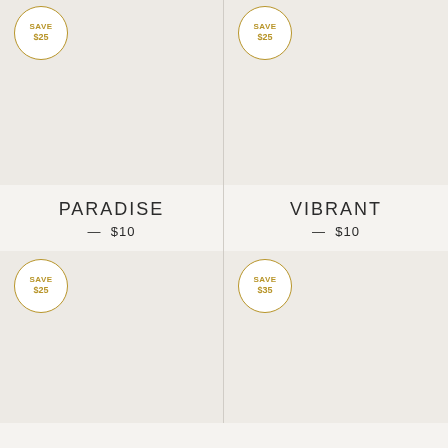[Figure (illustration): Product card image placeholder top left with SAVE $25 badge]
[Figure (illustration): Product card image placeholder top right with SAVE $25 badge]
PARADISE — $10
VIBRANT — $10
[Figure (illustration): Product card image placeholder bottom left with SAVE $25 badge]
[Figure (illustration): Product card image placeholder bottom right with SAVE $35 badge]